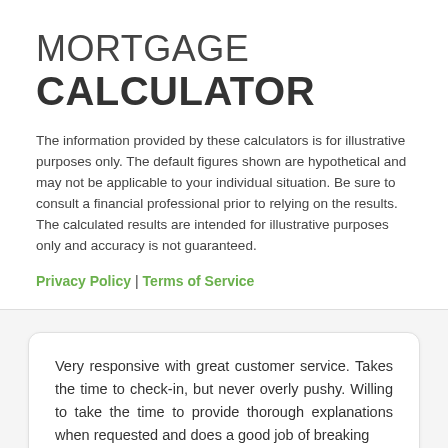MORTGAGE CALCULATOR
The information provided by these calculators is for illustrative purposes only. The default figures shown are hypothetical and may not be applicable to your individual situation. Be sure to consult a financial professional prior to relying on the results. The calculated results are intended for illustrative purposes only and accuracy is not guaranteed.
Privacy Policy | Terms of Service
Very responsive with great customer service. Takes the time to check-in, but never overly pushy. Willing to take the time to provide thorough explanations when requested and does a good job of breaking